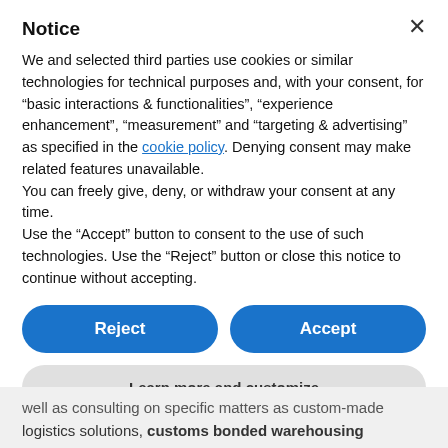Notice
We and selected third parties use cookies or similar technologies for technical purposes and, with your consent, for “basic interactions & functionalities”, “experience enhancement”, “measurement” and “targeting & advertising” as specified in the cookie policy. Denying consent may make related features unavailable.
You can freely give, deny, or withdraw your consent at any time.
Use the “Accept” button to consent to the use of such technologies. Use the “Reject” button or close this notice to continue without accepting.
Reject
Accept
Learn more and customize
well as consulting on specific matters as custom-made logistics solutions, customs bonded warehousing